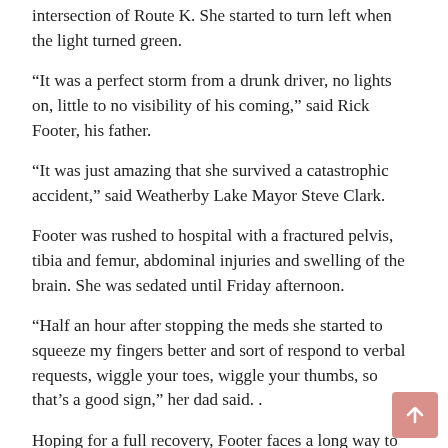intersection of Route K. She started to turn left when the light turned green.
“It was a perfect storm from a drunk driver, no lights on, little to no visibility of his coming,” said Rick Footer, his father.
“It was just amazing that she survived a catastrophic accident,” said Weatherby Lake Mayor Steve Clark.
Footer was rushed to hospital with a fractured pelvis, tibia and femur, abdominal injuries and swelling of the brain. She was sedated until Friday afternoon.
“Half an hour after stopping the meds she started to squeeze my fingers better and sort of respond to verbal requests, wiggle your toes, wiggle your thumbs, so that’s a good sign,” her dad said. .
Hoping for a full recovery, Footer faces a long way to get back